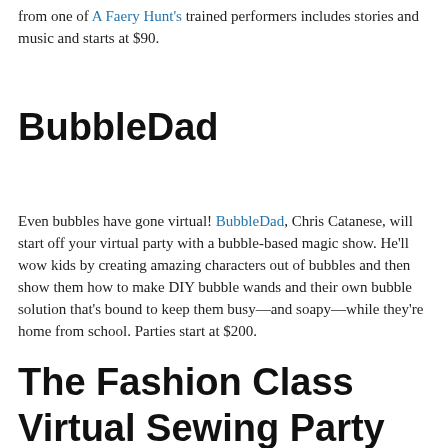from one of A Faery Hunt's trained performers includes stories and music and starts at $90.
BubbleDad
Even bubbles have gone virtual! BubbleDad, Chris Catanese, will start off your virtual party with a bubble-based magic show. He'll wow kids by creating amazing characters out of bubbles and then show them how to make DIY bubble wands and their own bubble solution that's bound to keep them busy—and soapy—while they're home from school. Parties start at $200.
The Fashion Class Virtual Sewing Party